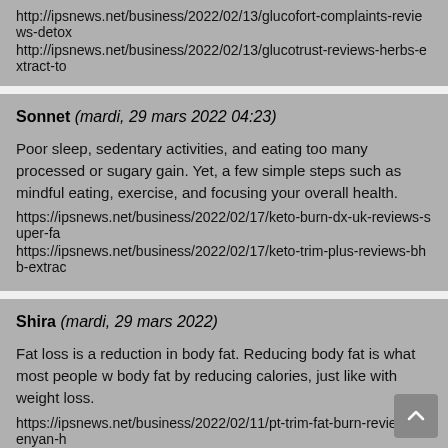http://ipsnews.net/business/2022/02/13/glucofort-complaints-reviews-detox
http://ipsnews.net/business/2022/02/13/glucotrust-reviews-herbs-extract-to
Sonnet (mardi, 29 mars 2022 04:23)

Poor sleep, sedentary activities, and eating too many processed or sugary gain. Yet, a few simple steps such as mindful eating, exercise, and focusing your overall health.
https://ipsnews.net/business/2022/02/17/keto-burn-dx-uk-reviews-super-fa
https://ipsnews.net/business/2022/02/17/keto-trim-plus-reviews-bhb-extrac
Shira (mardi, 29 mars 2022)

Fat loss is a reduction in body fat. Reducing body fat is what most people w body fat by reducing calories, just like with weight loss.
https://ipsnews.net/business/2022/02/11/pt-trim-fat-burn-reviews-kenyan-h
https://ipsnews.net/business/2022/02/11/metalean-complete-reviews-powd